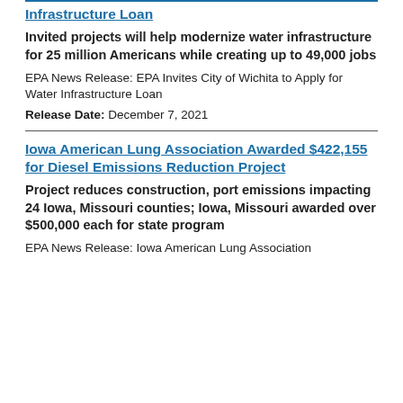Infrastructure Loan
Invited projects will help modernize water infrastructure for 25 million Americans while creating up to 49,000 jobs
EPA News Release: EPA Invites City of Wichita to Apply for Water Infrastructure Loan
Release Date: December 7, 2021
Iowa American Lung Association Awarded $422,155 for Diesel Emissions Reduction Project
Project reduces construction, port emissions impacting 24 Iowa, Missouri counties; Iowa, Missouri awarded over $500,000 each for state program
EPA News Release: Iowa American Lung Association